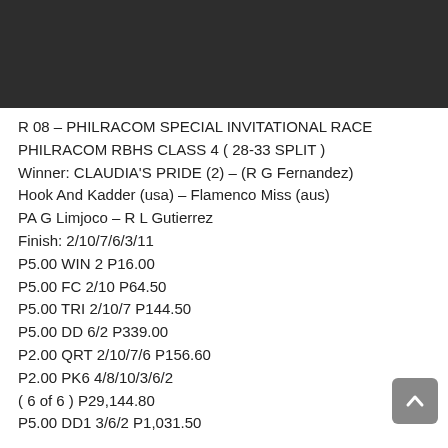[Figure (other): Dark/black header bar at top of page]
R 08 – PHILRACOM SPECIAL INVITATIONAL RACE
PHILRACOM RBHS CLASS 4 ( 28-33 SPLIT )
Winner: CLAUDIA'S PRIDE (2) – (R G Fernandez)
Hook And Kadder (usa) – Flamenco Miss (aus)
PA G Limjoco – R L Gutierrez
Finish: 2/10/7/6/3/11
P5.00 WIN 2 P16.00
P5.00 FC 2/10 P64.50
P5.00 TRI 2/10/7 P144.50
P5.00 DD 6/2 P339.00
P2.00 QRT 2/10/7/6 P156.60
P2.00 PK6 4/8/10/3/6/2
( 6 of 6 ) P29,144.80
P5.00 DD1 3/6/2 P1,031.50